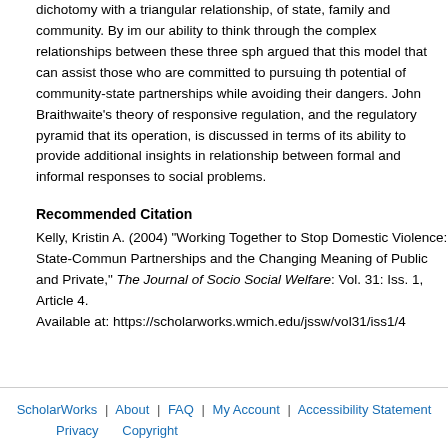dichotomy with a triangular relationship, of state, family and community. By im our ability to think through the complex relationships between these three sph argued that this model that can assist those who are committed to pursuing th potential of community-state partnerships while avoiding their dangers. John Braithwaite's theory of responsive regulation, and the regulatory pyramid that its operation, is discussed in terms of its ability to provide additional insights in relationship between formal and informal responses to social problems.
Recommended Citation
Kelly, Kristin A. (2004) "Working Together to Stop Domestic Violence: State-Commun Partnerships and the Changing Meaning of Public and Private," The Journal of Socio Social Welfare: Vol. 31: Iss. 1, Article 4. Available at: https://scholarworks.wmich.edu/jssw/vol31/iss1/4
ScholarWorks | About | FAQ | My Account | Accessibility Statement Privacy | Copyright